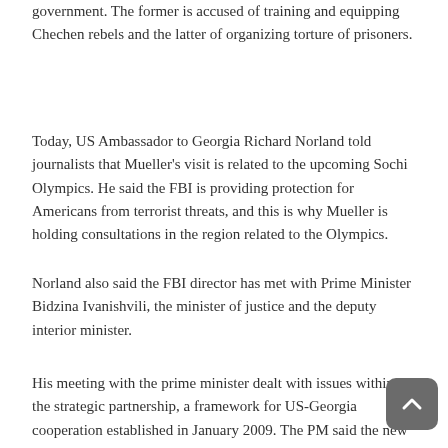government. The former is accused of training and equipping Chechen rebels and the latter of organizing torture of prisoners.
Today, US Ambassador to Georgia Richard Norland told journalists that Mueller's visit is related to the upcoming Sochi Olympics. He said the FBI is providing protection for Americans from terrorist threats, and this is why Mueller is holding consultations in the region related to the Olympics.
Norland also said the FBI director has met with Prime Minister Bidzina Ivanishvili, the minister of justice and the deputy interior minister.
His meeting with the prime minister dealt with issues within the strategic partnership, a framework for US-Georgia cooperation established in January 2009. The PM said the new government will do its best so that the US' interest in